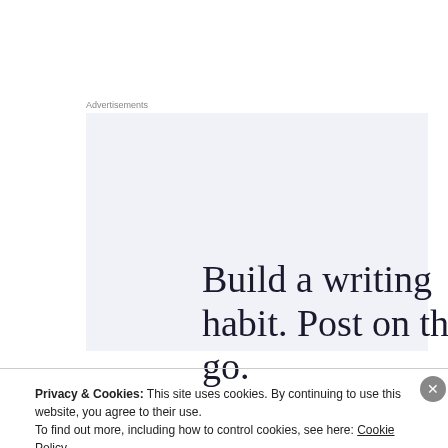Advertisements
[Figure (illustration): Advertisement banner with light blue-gray background containing the text 'Build a writing habit. Post on the go.' in large serif font]
Privacy & Cookies: This site uses cookies. By continuing to use this website, you agree to their use.
To find out more, including how to control cookies, see here: Cookie Policy
Close and accept